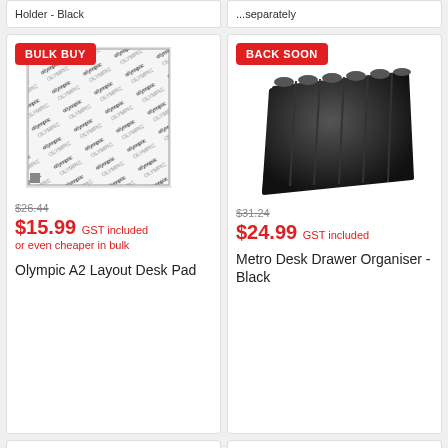[Figure (photo): Partial view of top-left product card stub (cut off at top)]
[Figure (photo): Partial view of top-right product card stub (cut off at top)]
[Figure (photo): Olympic A2 Layout Desk Pad product image with BULK BUY badge]
$26.44
$15.99 GST included or even cheaper in bulk
Olympic A2 Layout Desk Pad
[Figure (photo): Metro Desk Drawer Organiser Black product image with BACK SOON badge]
$31.24
$24.99 GST included
Metro Desk Drawer Organiser - Black
[Figure (photo): Partial bottom-left product card with partial image visible]
[Figure (photo): Partial bottom-right product card with BACK SOON badge]